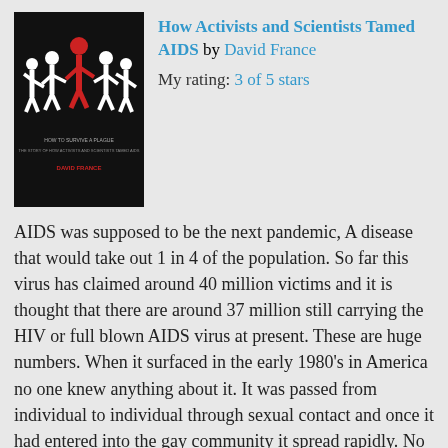[Figure (photo): Book cover of 'How to Survive a Plague: The Story of How Activists and Scientists Tamed AIDS' by David France. Dark/black background with white silhouette figures holding hands in a chain, with one red figure standing out.]
How Activists and Scientists Tamed AIDS by David France
My rating: 3 of 5 stars
AIDS was supposed to be the next pandemic, A disease that would take out 1 in 4 of the population. So far this virus has claimed around 40 million victims and it is thought that there are around 37 million still carrying the HIV or full blown AIDS virus at present. These are huge numbers. When it surfaced in the early 1980's in America no one knew anything about it. It was passed from individual to individual through sexual contact and once it had entered into the gay community it spread rapidly. No one knew how to treat the symptoms or even if it was curable. Most people in America, in particular, those of a right wing persuasion could not be described as 'sympathetic' of the New York or any other gay community. This was even before men started to start to